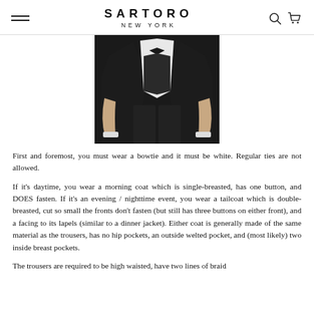SARTORO NEW YORK
[Figure (photo): Close-up photo of a person wearing a black tailcoat tuxedo with white shirt and white bowtie, showing the torso and hands area against a dark background]
First and foremost, you must wear a bowtie and it must be white. Regular ties are not allowed.
If it's daytime, you wear a morning coat which is single-breasted, has one button, and DOES fasten. If it's an evening / nighttime event, you wear a tailcoat which is double-breasted, cut so small the fronts don't fasten (but still has three buttons on either front), and a facing to its lapels (similar to a dinner jacket). Either coat is generally made of the same material as the trousers, has no hip pockets, an outside welted pocket, and (most likely) two inside breast pockets.
The trousers are required to be high waisted, have two lines of braid